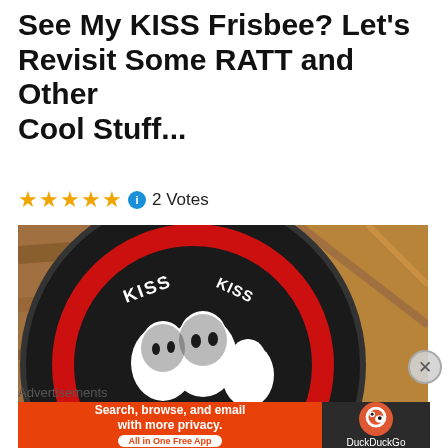See My KISS Frisbee? Let's Revisit Some RATT and Other Cool Stuff...
★★★★★ ℹ 2 Votes
[Figure (photo): A black KISS-branded frisbee on a wooden surface, featuring the KISS logo in red and white with cartoon band member faces]
Advertisements
[Figure (infographic): DuckDuckGo advertisement banner: Search, browse, and email with more privacy. All in One Free App. DuckDuckGo logo on dark background.]